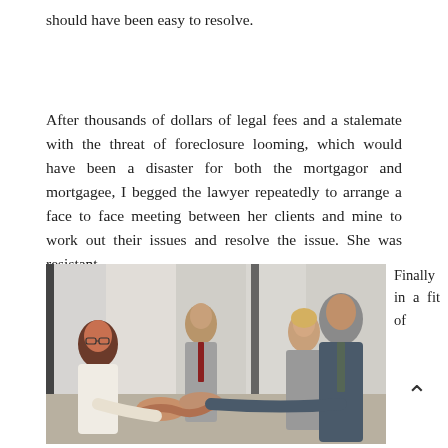should have been easy to resolve.
After thousands of dollars of legal fees and a stalemate with the threat of foreclosure looming, which would have been a disaster for both the mortgagor and mortgagee, I begged the lawyer repeatedly to arrange a face to face meeting between her clients and mine to work out their issues and resolve the issue. She was resistant.
The meeting was repeatedly rejected by the lawyer.
[Figure (photo): Business people shaking hands in a meeting room, with multiple people in the background smiling.]
Finally in a fit of